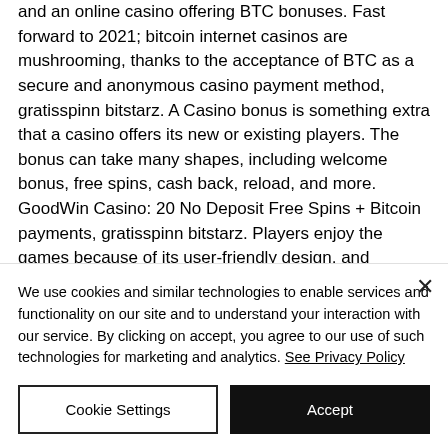and an online casino offering BTC bonuses. Fast forward to 2021; bitcoin internet casinos are mushrooming, thanks to the acceptance of BTC as a secure and anonymous casino payment method, gratisspinn bitstarz. A Casino bonus is something extra that a casino offers its new or existing players. The bonus can take many shapes, including welcome bonus, free spins, cash back, reload, and more. GoodWin Casino: 20 No Deposit Free Spins + Bitcoin payments, gratisspinn bitstarz. Players enjoy the games because of its user-friendly design, and
We use cookies and similar technologies to enable services and functionality on our site and to understand your interaction with our service. By clicking on accept, you agree to our use of such technologies for marketing and analytics. See Privacy Policy